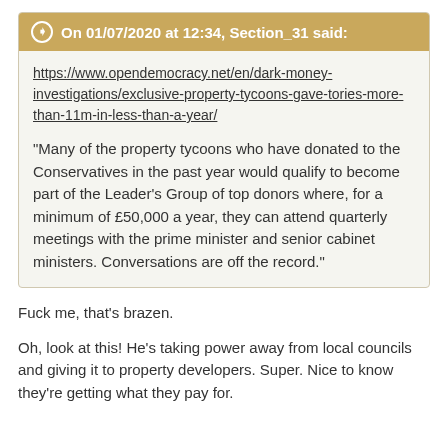On 01/07/2020 at 12:34, Section_31 said:
https://www.opendemocracy.net/en/dark-money-investigations/exclusive-property-tycoons-gave-tories-more-than-11m-in-less-than-a-year/
"Many of the property tycoons who have donated to the Conservatives in the past year would qualify to become part of the Leader's Group of top donors where, for a minimum of £50,000 a year, they can attend quarterly meetings with the prime minister and senior cabinet ministers. Conversations are off the record."
Fuck me, that's brazen.
Oh, look at this! He's taking power away from local councils and giving it to property developers. Super. Nice to know they're getting what they pay for.